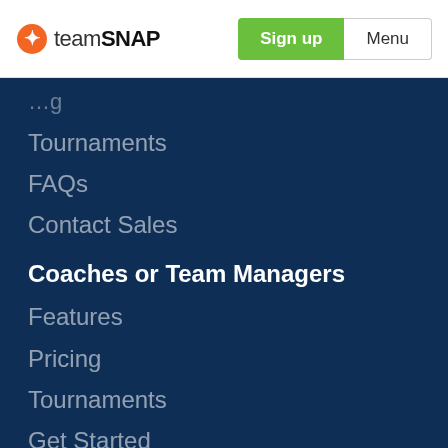[Figure (logo): TeamSnap logo with orange star icon and text 'teamSNAP']
Sign up
Menu
Tournaments
FAQs
Contact Sales
Coaches or Team Managers
Features
Pricing
Tournaments
Get Started
Parents or Athletes
Features
Pricing
Find My Team
Get Started